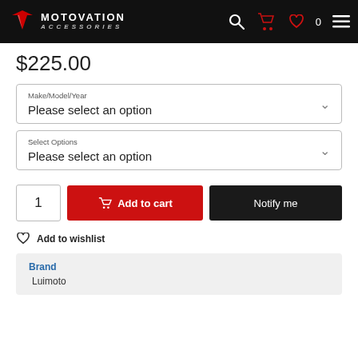Motovation Accessories
$225.00
Make/Model/Year
Please select an option
Select Options
Please select an option
1  Add to cart  Notify me
Add to wishlist
Brand
Luimoto